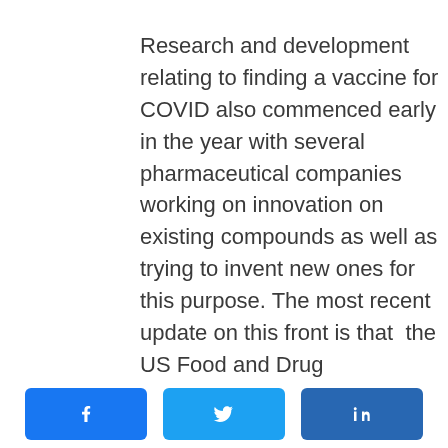Research and development relating to finding a vaccine for COVID also commenced early in the year with several pharmaceutical companies working on innovation on existing compounds as well as trying to invent new ones for this purpose. The most recent update on this front is that  the US Food and Drug Administration (FDA) has authorised the administration of the emergency use of the mRNA vaccine, BNT162b2, against COVID-
[Figure (other): Social sharing buttons: Facebook (blue), Twitter (light blue), LinkedIn (dark blue)]